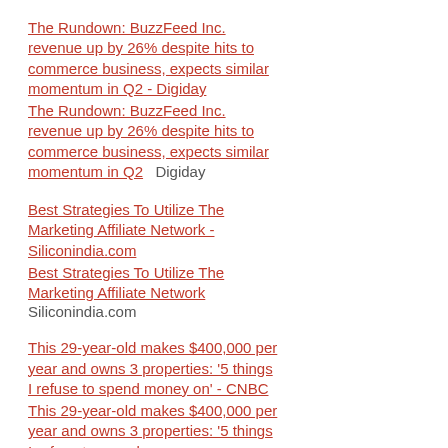The Rundown: BuzzFeed Inc. revenue up by 26% despite hits to commerce business, expects similar momentum in Q2 - Digiday
The Rundown: BuzzFeed Inc. revenue up by 26% despite hits to commerce business, expects similar momentum in Q2  Digiday
Best Strategies To Utilize The Marketing Affiliate Network - Siliconindia.com
Best Strategies To Utilize The Marketing Affiliate Network  Siliconindia.com
This 29-year-old makes $400,000 per year and owns 3 properties: '5 things I refuse to spend money on' - CNBC
This 29-year-old makes $400,000 per year and owns 3 properties: '5 things I refuse to spend money on